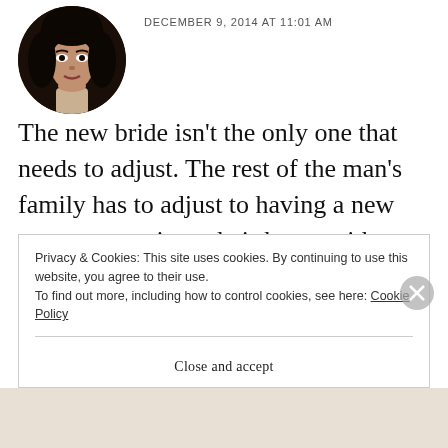[Figure (photo): Circular avatar photo of a woman with dark hair]
DECEMBER 9, 2014 AT 11:01 AM
The new bride isn't the only one that needs to adjust. The rest of the man's family has to adjust to having a new person come in to their home with different ideas, traditions, morals and feelings. Having different personalities in one home is always a challenge, but everyone has to work
Privacy & Cookies: This site uses cookies. By continuing to use this website, you agree to their use.
To find out more, including how to control cookies, see here: Cookie Policy
Close and accept